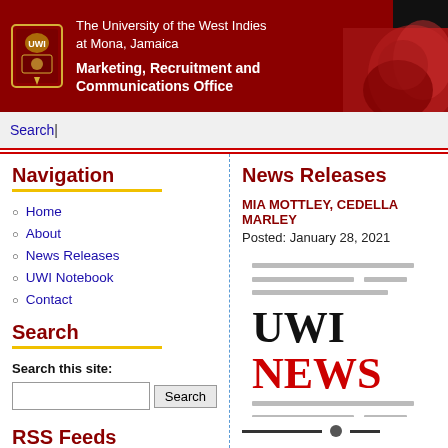The University of the West Indies at Mona, Jamaica
Marketing, Recruitment and Communications Office
Search |
Navigation
Home
About
News Releases
UWI Notebook
Contact
Search
Search this site:
RSS Feeds
News Releases
MIA MOTTLEY, CEDELLA MARLEY
Posted: January 28, 2021
[Figure (illustration): UWI NEWS newspaper-style image showing 'UWI' in black bold serif and 'NEWS' in red bold serif, with grey placeholder text lines above and below]